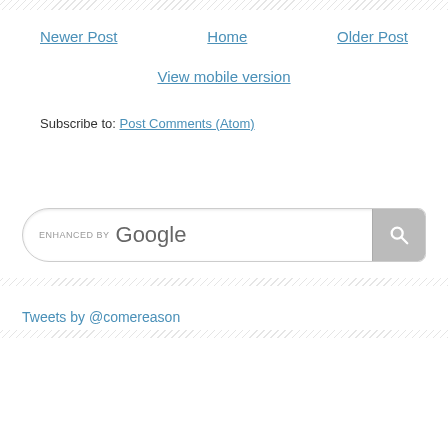Newer Post | Home | Older Post
View mobile version
Subscribe to: Post Comments (Atom)
[Figure (other): Enhanced by Google search box with search button]
Tweets by @comereason